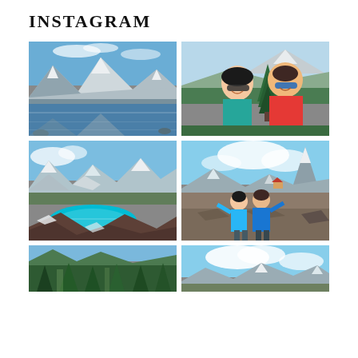INSTAGRAM
[Figure (photo): Mountain lake with snow-capped peaks reflected in calm blue water under blue sky]
[Figure (photo): Two hikers smiling together in front of a pine tree with mountains in background]
[Figure (photo): Aerial view of snow-covered mountain range with turquoise glacial lake below]
[Figure (photo): Two people posing on rocky mountain summit with the Matterhorn and clouds in background]
[Figure (photo): Partially visible mountain forest scene (bottom row left)]
[Figure (photo): Partially visible blue sky and clouds mountain scene (bottom row right)]